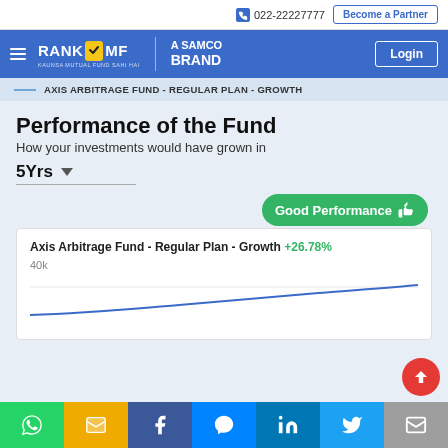022-22227777  Become a Partner
RANK MF | A SAMCO BRAND  Login
AXIS ARBITRAGE FUND - REGULAR PLAN - GROWTH
Performance of the Fund
How your investments would have grown in
5Yrs
[Figure (infographic): Green badge reading 'Good Performance' with thumbs up icon]
[Figure (line-chart): Line chart showing fund performance over 5 years. Y-axis label shows 40k. Chart partially visible.]
Social sharing bar: WhatsApp, SMS, Facebook, Messenger, LinkedIn, Twitter, Email